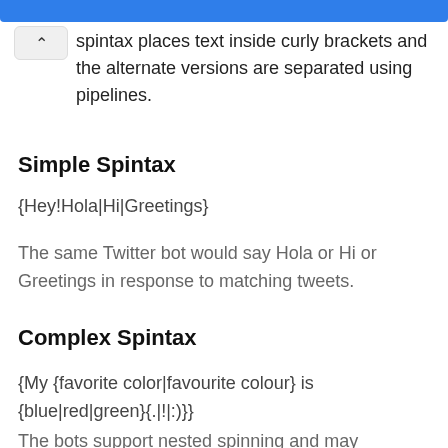spintax places text inside curly brackets and the alternate versions are separated using pipelines.
Simple Spintax
{Hey!Hola|Hi|Greetings}
The same Twitter bot would say Hola or Hi or Greetings in response to matching tweets.
Complex Spintax
{My {favorite color|favourite colour} is {blue|red|green}{.|!|:)}}
The bots support nested spinning and may